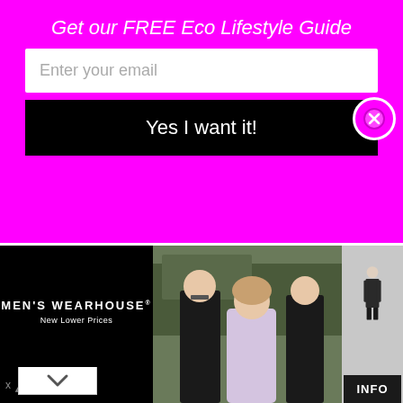Get our FREE Eco Lifestyle Guide
Enter your email
Yes I want it!
resident, is hoping to challenge the culture of diaper disposability and inspire a new generation of parents to opt for washable cloth diapers. She and her husband have been using reusable nappies since their daughter's birth. Katy was kind enough to take some time out and answer some questions. We hope her advice encourages you to make the switch from disposable to reusable diapers and helps overcome your cloth nappy fears!
[Figure (photo): Men's Wearhouse advertisement banner showing a couple in formal wear and a man in a suit, with 'MEN'S WEARHOUSE New Lower Prices' text and INFO button]